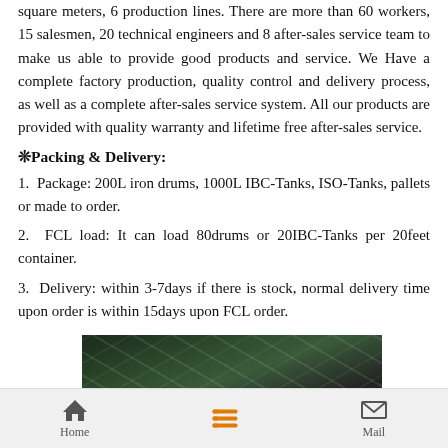square meters, 6 production lines. There are more than 60 workers, 15 salesmen, 20 technical engineers and 8 after-sales service team to make us able to provide good products and service. We Have a complete factory production, quality control and delivery process, as well as a complete after-sales service system. All our products are provided with quality warranty and lifetime free after-sales service.
❊Packing & Delivery:
1.  Package: 200L iron drums, 1000L IBC-Tanks, ISO-Tanks, pallets or made to order.
2.  FCL load: It can load 80drums or 20IBC-Tanks per 20feet container.
3.  Delivery: within 3-7days if there is stock, normal delivery time upon order is within 15days upon FCL order.
[Figure (photo): Interior of a large industrial warehouse or factory building with metal roof structure and green walls visible]
Home  [list icon]  Mail